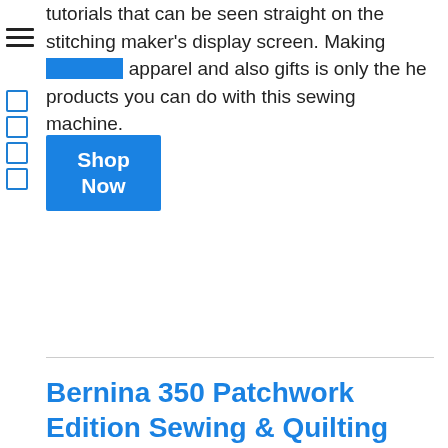tutorials that can be seen straight on the stitching maker's display screen. Making stitched apparel and also gifts is only the he products you can do with this sewing machine.
[Figure (illustration): Blue Shop Now button overlay on text, with hamburger menu icon and left navigation icons]
Bernina 350 Patchwork Edition Sewing & Quilting Machine
Advancement quilters and also embroiderers will absolutely love the Bernina 530 sewing maker. The Bernina name alone is top
[Figure (photo): White Bernina sewing machine with gray top panel and red Bernina logo on white background]